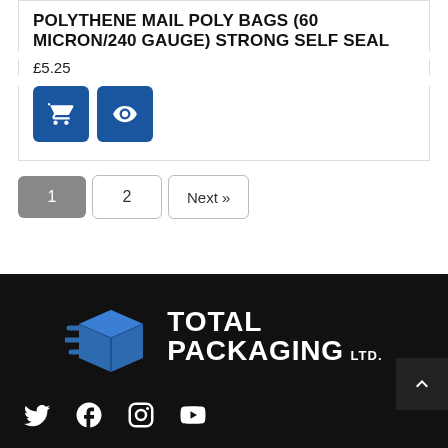POLYTHENE MAIL POLY BAGS (60 MICRON/240 GAUGE) STRONG SELF SEAL
£5.25
[Figure (screenshot): Two blue square buttons: a shopping cart button and an eye/view button]
1  2  Next »
[Figure (logo): Total Packaging LTD logo with blue fast-moving box icon and white bold text on black background]
[Figure (other): Social media icons: Twitter, Facebook, Instagram, YouTube in white on black background]